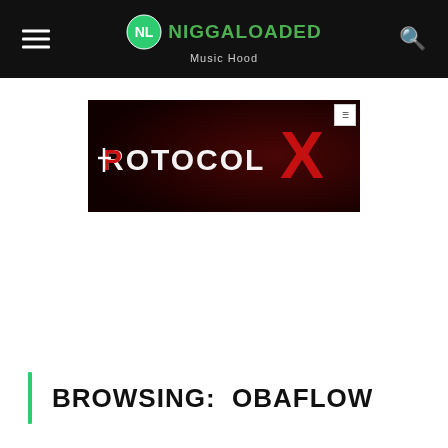NIGGALOADED Music Hood
[Figure (illustration): Protocol X advertisement banner on dark red/black background with stylized text 'PROTOCOL X' where P has a cross symbol and X is rendered in large red angular style]
BROWSING: OBAFLOW